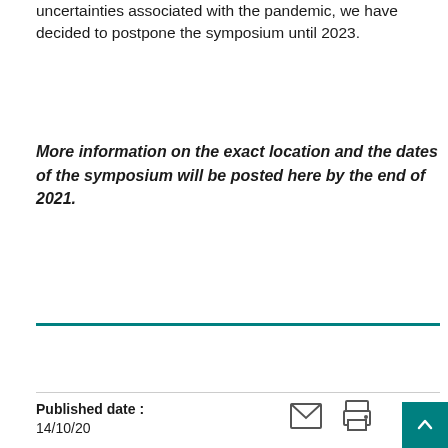uncertainties associated with the pandemic, we have decided to postpone the symposium until 2023.
More information on the exact location and the dates of the symposium will be posted here by the end of 2021.
Published date : 14/10/20